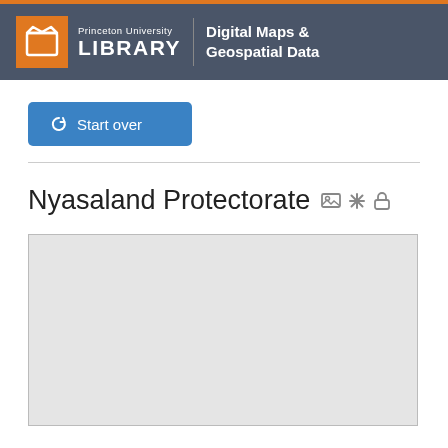Princeton University LIBRARY | Digital Maps & Geospatial Data
Start over
Nyasaland Protectorate
[Figure (map): Gray placeholder map preview area for Nyasaland Protectorate]